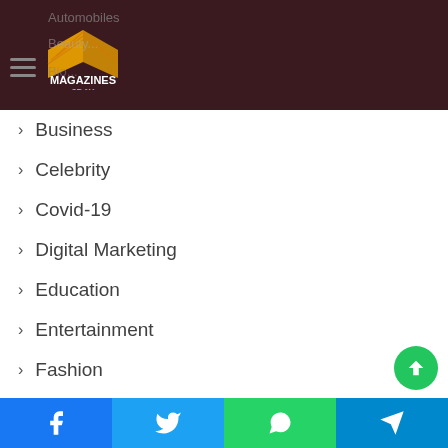[Figure (logo): Magazines2Day logo: open book with orange pages and text MAGAZINES 2DAY on dark maroon header background]
Business
Celebrity
Covid-19
Digital Marketing
Education
Entertainment
Fashion
fitness
Food
Game
Health
Facebook | Twitter | WhatsApp | Telegram